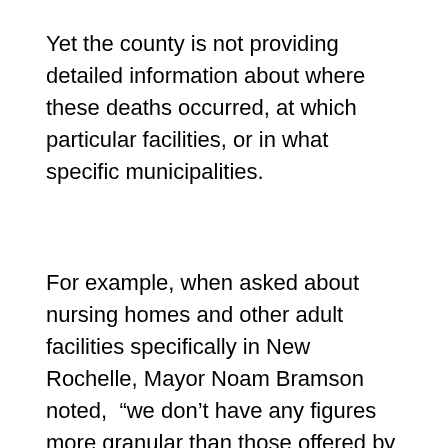Yet the county is not providing detailed information about where these deaths occurred, at which particular facilities, or in what specific municipalities.
For example, when asked about nursing homes and other adult facilities specifically in New Rochelle, Mayor Noam Bramson noted,  “we don’t have any figures more granular than those offered by the county.”  So it seems that many families with loved ones in certain facilities cannot get the information they could use to better protect their vulnerable family members–information that would reveal if there were many cases detected at their facility, how many people or staff were ill, and how many had died or recovered.